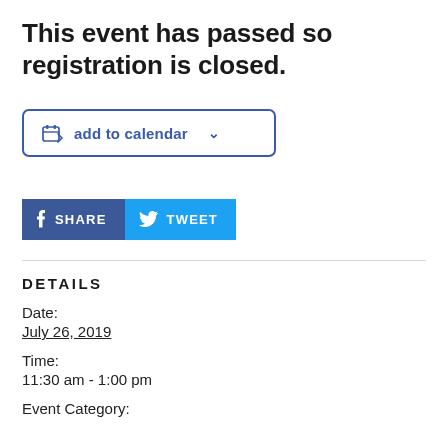This event has passed so registration is closed.
[Figure (other): Add to calendar button with calendar icon and dropdown chevron, blue border]
[Figure (other): Social sharing buttons: blue Facebook SHARE button and teal Twitter TWEET button]
DETAILS
Date:
July 26, 2019
Time:
11:30 am - 1:00 pm
Event Category: